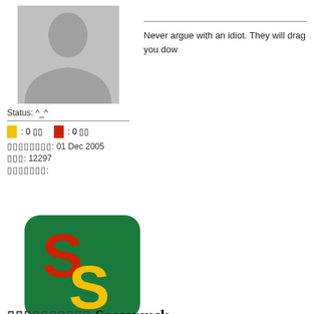[Figure (photo): Generic grey silhouette avatar/profile picture placeholder]
Status: ^_^
Yellow card: 0  Red card: 0
01 Dec 2005
12297
Never argue with an idiot. They will drag you dow...
[Figure (logo): Soccer site logo — green rounded square with overlapping red and yellow S letters]
Soccersuck